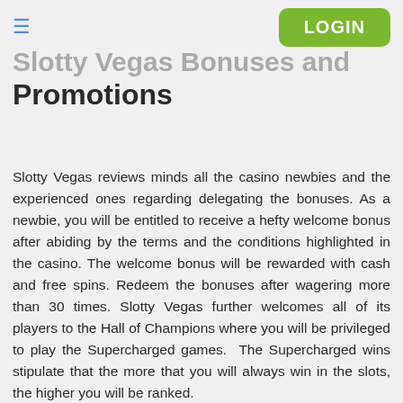LOGIN
Slotty Vegas Bonuses and Promotions
Slotty Vegas reviews minds all the casino newbies and the experienced ones regarding delegating the bonuses. As a newbie, you will be entitled to receive a hefty welcome bonus after abiding by the terms and the conditions highlighted in the casino. The welcome bonus will be rewarded with cash and free spins. Redeem the bonuses after wagering more than 30 times. Slotty Vegas further welcomes all of its players to the Hall of Champions where you will be privileged to play the Supercharged games. The Supercharged wins stipulate that the more that you will always win in the slots, the higher you will be ranked.
Welcome Package. Becoming a new member of the Slotty Vegas will mean that you will grab the single